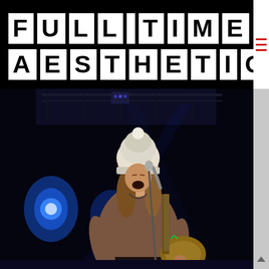FULL TIME AESTHETIC
[Figure (photo): Female musician performing on stage, wearing a white beanie hat and brown sweater, playing an acoustic guitar and singing into a microphone. Stage lighting with blue lights visible in the background.]